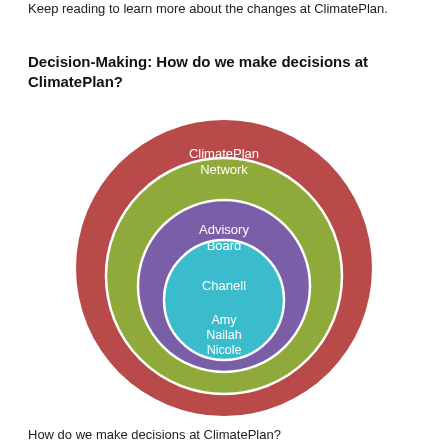Keep reading to learn more about the changes at ClimatePlan.
Decision-Making: How do we make decisions at ClimatePlan?
[Figure (other): Nested concentric circles diagram showing ClimatePlan decision-making hierarchy. Outermost red circle: ClimatePlan Network. Green circle: Advisory Board. Purple circle: Chanell. Innermost teal circle: Amy, Nailah, Nicole.]
How do we make decisions at ClimatePlan?